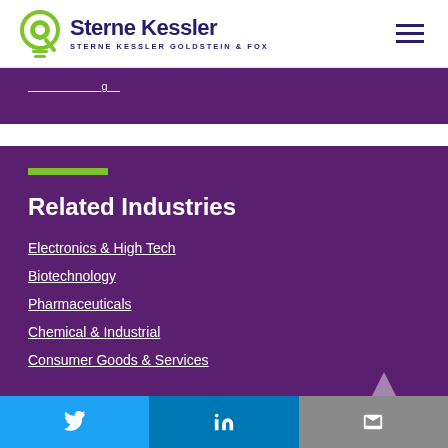Sterne Kessler | Sterne Kessler Goldstein & Fox
(partially visible link/text in purple band)
Related Industries
Electronics & High Tech
Biotechnology
Pharmaceuticals
Chemical & Industrial
Consumer Goods & Services
Twitter | LinkedIn | Email